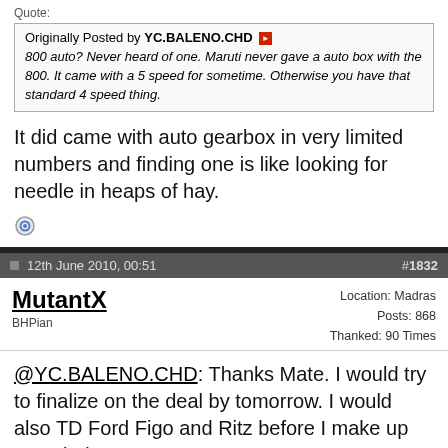Quote: Originally Posted by YC.BALENO.CHD — 800 auto? Never heard of one. Maruti never gave a auto box with the 800. It came with a 5 speed for sometime. Otherwise you have that standard 4 speed thing.
It did came with auto gearbox in very limited numbers and finding one is like looking for needle in heaps of hay.
12th June 2010, 00:51  #1832
MutantX
BHPian
Location: Madras
Posts: 868
Thanked: 90 Times
@YC.BALENO.CHD: Thanks Mate. I would try to finalize on the deal by tomorrow. I would also TD Ford Figo and Ritz before I make up my mind.